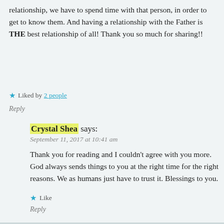relationship, we have to spend time with that person, in order to get to know them. And having a relationship with the Father is THE best relationship of all! Thank you so much for sharing!!
Liked by 2 people
Reply
Crystal Shea says:
September 11, 2017 at 10:41 am
Thank you for reading and I couldn't agree with you more. God always sends things to you at the right time for the right reasons. We as humans just have to trust it. Blessings to you.
Like
Reply